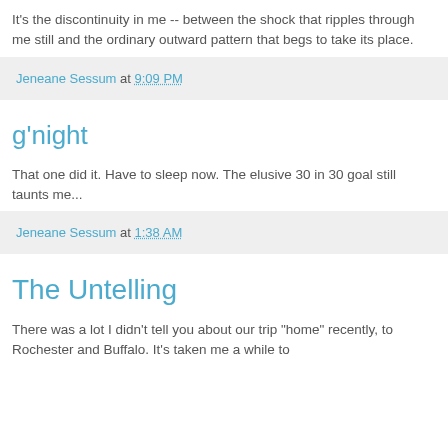It's the discontinuity in me -- between the shock that ripples through me still and the ordinary outward pattern that begs to take its place.
Jeneane Sessum at 9:09 PM
g'night
That one did it. Have to sleep now. The elusive 30 in 30 goal still taunts me...
Jeneane Sessum at 1:38 AM
The Untelling
There was a lot I didn't tell you about our trip "home" recently, to Rochester and Buffalo. It's taken me a while to